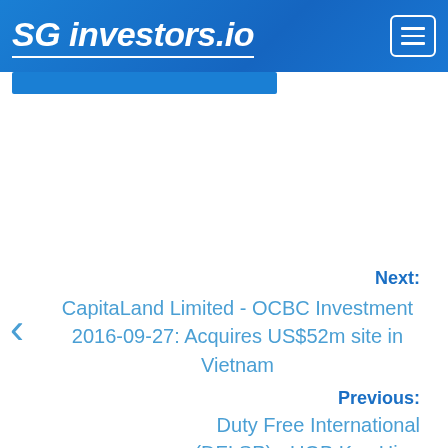SG investors.io
Next: CapitaLand Limited - OCBC Investment 2016-09-27: Acquires US$52m site in Vietnam
Previous: Duty Free International (DFI:SP) - UOB Kay Hian